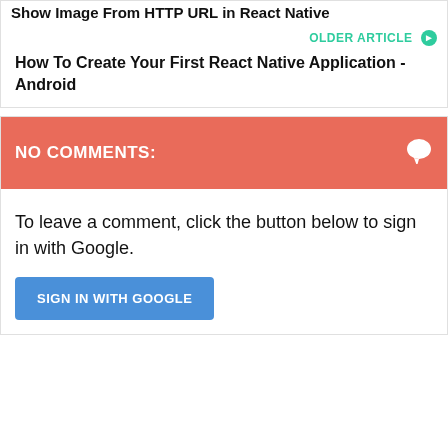Show Image From HTTP URL in React Native
OLDER ARTICLE ❯
How To Create Your First React Native Application - Android
NO COMMENTS:
To leave a comment, click the button below to sign in with Google.
SIGN IN WITH GOOGLE